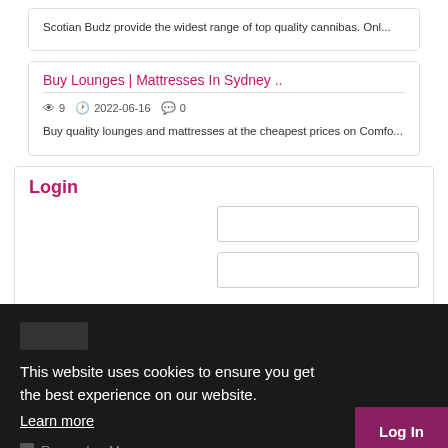Scotian Budz provide the widest range of top quality cannibas. Onl...
Buy Lounges | Mattresses In Sydney ..
👁 9  🕐 2022-06-16  💬 0
Buy quality lounges and mattresses at the cheapest prices on Comfo...
Login
This website uses cookies to ensure you get the best experience on our website.
Learn more
Remember Me
Got it!
Register | Forgot Password
Log In